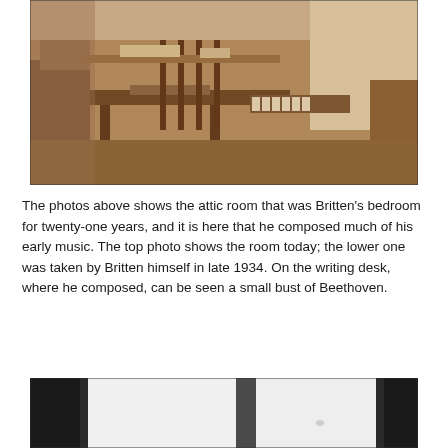[Figure (photo): Sepia-toned historical photograph of an attic room interior, showing a writing desk, furniture, and room details. Taken by Britten in late 1934.]
The photos above shows the attic room that was Britten's bedroom for twenty-one years, and it is here that he composed much of his early music. The top photo shows the room today; the lower one was taken by Britten himself in late 1934. On the writing desk, where he composed, can be seen a small bust of Beethoven.
[Figure (photo): Partial photograph showing what appears to be an interior room, mostly dark with lighter panels visible, possibly open wardrobes or doors.]